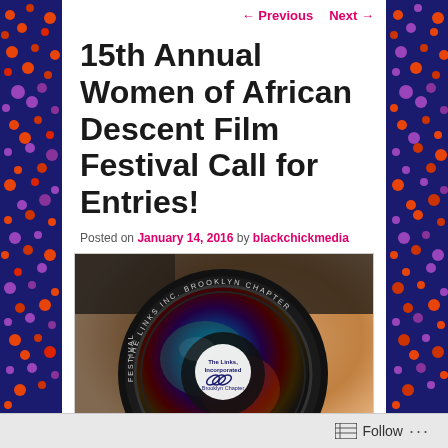← Previous   Next →
15th Annual Women of African Descent Film Festival Call for Entries!
Posted on January 14, 2016 by blackchickmedia
[Figure (photo): Close-up photo of a camera lens with text around the rim reading 'THE LINKS INC. BROOKLYN CHAPTER' and '13TH ANNUAL' and 'FESTIVAL'. The lens reflection shows a logo for The Links Incorporated Brooklyn Chapter.]
Follow